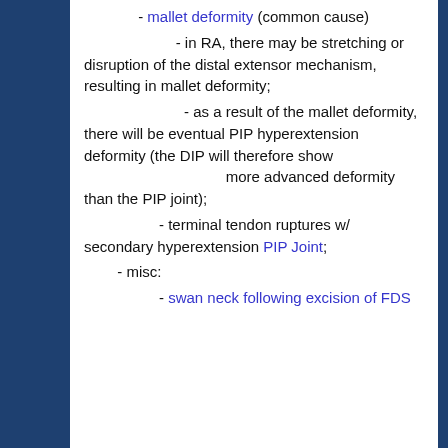- mallet deformity (common cause)
- in RA, there may be stretching or disruption of the distal extensor mechanism, resulting in mallet deformity;
- as a result of the mallet deformity, there will be eventual PIP hyperextension deformity (the DIP will therefore show more advanced deformity than the PIP joint);
- terminal tendon ruptures w/ secondary hyperextension PIP Joint;
- misc:
- swan neck following excision of FDS